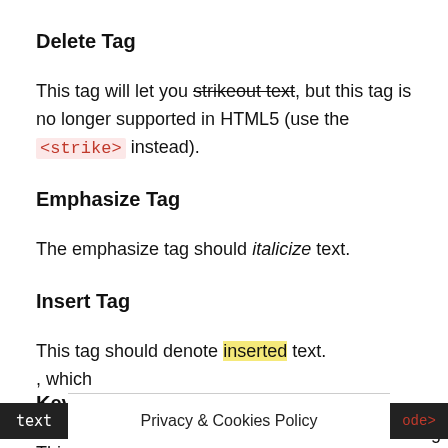Delete Tag
This tag will let you strikeout text, but this tag is no longer supported in HTML5 (use the <strike> instead).
Emphasize Tag
The emphasize tag should italicize text.
Insert Tag
This tag should denote inserted text.
Keyboard Tag
This scarcely keyboard text, which <code> tag.